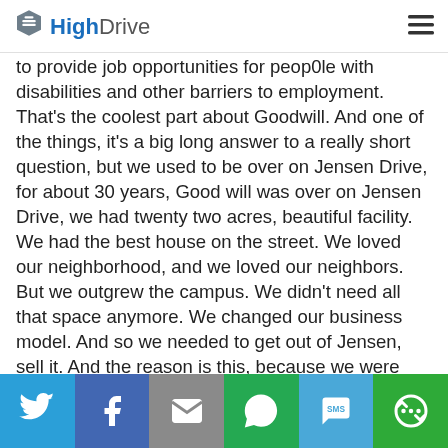HighDrive
to provide job opportunities for peop0le with disabilities and other barriers to employment. That's the coolest part about Goodwill. And one of the things, it's a big long answer to a really short question, but we used to be over on Jensen Drive, for about 30 years, Good will was over on Jensen Drive, we had twenty two acres, beautiful facility. We had the best house on the street. We loved our neighborhood, and we loved our neighbors. But we outgrew the campus. We didn't need all that space anymore. We changed our business model. And so we needed to get out of Jensen, sell it. And the reason is this, because we were beginning to get stereo-typed as an organization for the 5th ward. But we're an organization for everyone, disability, joblessness
Social share bar: Twitter, Facebook, Email, WhatsApp, SMS, More